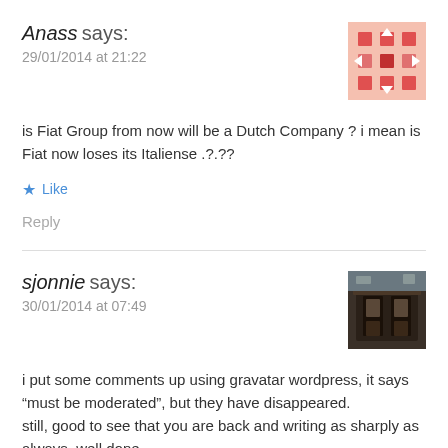Anass says:
29/01/2014 at 21:22
[Figure (illustration): Gravatar avatar image for Anass — pink/red pixelated pattern]
is Fiat Group from now will be a Dutch Company ? i mean is Fiat now loses its Italiense .?.??
Like
Reply
sjonnie says:
30/01/2014 at 07:49
[Figure (photo): Gravatar avatar image for sjonnie — dark photo of a building/gate]
i put some comments up using gravatar wordpress, it says “must be moderated”, but they have disappeared.
still, good to see that you are back and writing as sharply as always. well done.